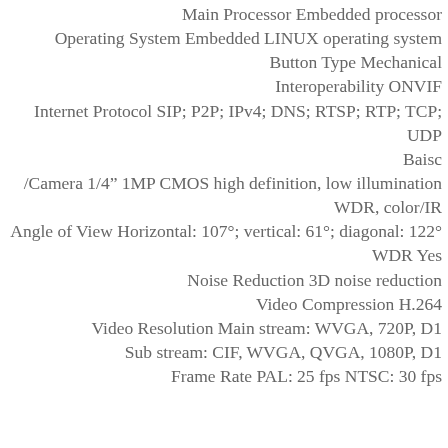Main Processor Embedded processor
Operating System Embedded LINUX operating system
Button Type Mechanical
Interoperability ONVIF
Internet Protocol SIP; P2P; IPv4; DNS; RTSP; RTP; TCP; UDP
Baisc
/Camera 1/4" 1MP CMOS high definition, low illumination WDR, color/IR
Angle of View Horizontal: 107°; vertical: 61°; diagonal: 122°
WDR Yes
Noise Reduction 3D noise reduction
Video Compression H.264
Video Resolution Main stream: WVGA, 720P, D1
Sub stream: CIF, WVGA, QVGA, 1080P, D1
Frame Rate PAL: 25 fps NTSC: 30 fps